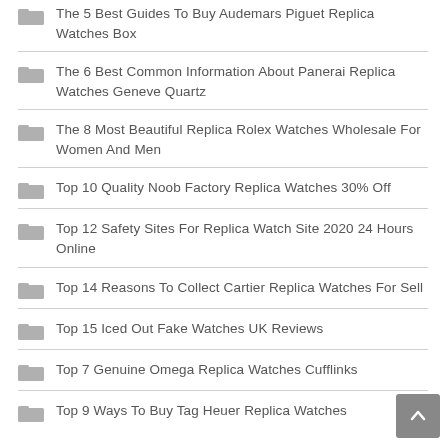The 5 Best Guides To Buy Audemars Piguet Replica Watches Box
The 6 Best Common Information About Panerai Replica Watches Geneve Quartz
The 8 Most Beautiful Replica Rolex Watches Wholesale For Women And Men
Top 10 Quality Noob Factory Replica Watches 30% Off
Top 12 Safety Sites For Replica Watch Site 2020 24 Hours Online
Top 14 Reasons To Collect Cartier Replica Watches For Sell
Top 15 Iced Out Fake Watches UK Reviews
Top 7 Genuine Omega Replica Watches Cufflinks
Top 9 Ways To Buy Tag Heuer Replica Watches